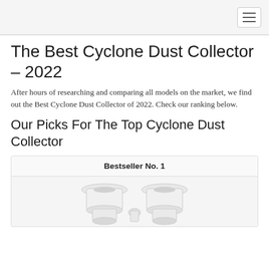The Best Cyclone Dust Collector – 2022
After hours of researching and comparing all models on the market, we find out the Best Cyclone Dust Collector of 2022. Check our ranking below.
Our Picks For The Top Cyclone Dust Collector
| Bestseller No. 1 |
| --- |
| [product image] |